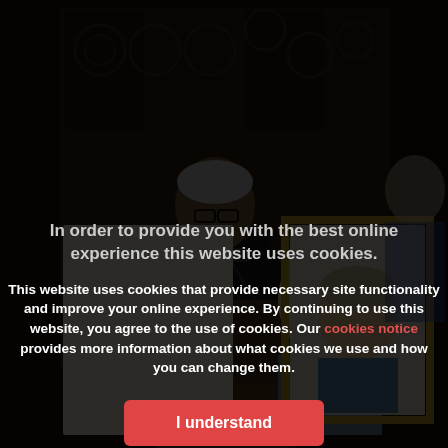[Figure (photo): A man in a dark suit speaking at a podium with microphones, with a framed portrait of Queen Elizabeth II visible to the right, and ornate wooden church-like interior in the background. People are seated behind him.]
In order to provide you with the best online experience this website uses cookies.
This website uses cookies that provide necessary site functionality and improve your online experience. By continuing to use this website, you agree to the use of cookies. Our cookies notice provides more information about what cookies we use and how you can change them.
I understand